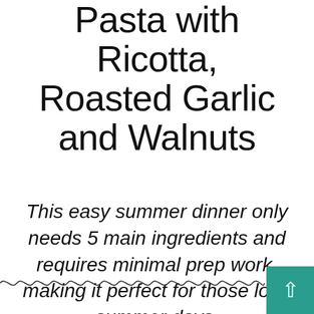Pasta with Ricotta, Roasted Garlic and Walnuts
This easy summer dinner only needs 5 main ingredients and requires minimal prep work, making it perfect for those long summer days.